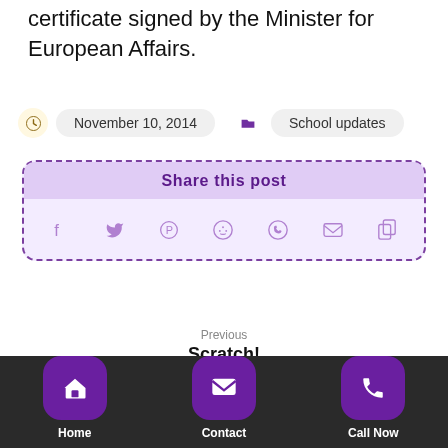certificate signed by the Minister for European Affairs.
November 10, 2014   School updates
[Figure (infographic): Share this post box with social media icons: Facebook, Twitter, Pinterest, Reddit, WhatsApp, Email, Copy]
Previous
Scratch!
Home   Contact   Call Now